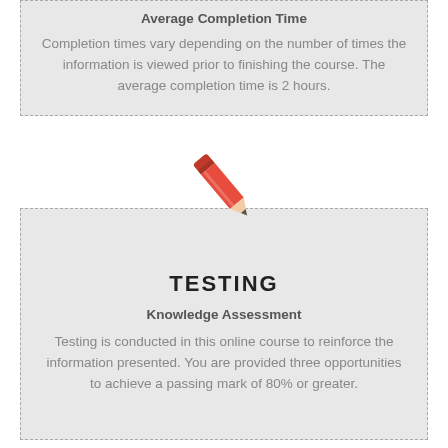Average Completion Time
Completion times vary depending on the number of times the information is viewed prior to finishing the course. The average completion time is 2 hours.
[Figure (illustration): Red pencil icon]
TESTING
Knowledge Assessment
Testing is conducted in this online course to reinforce the information presented. You are provided three opportunities to achieve a passing mark of 80% or greater.